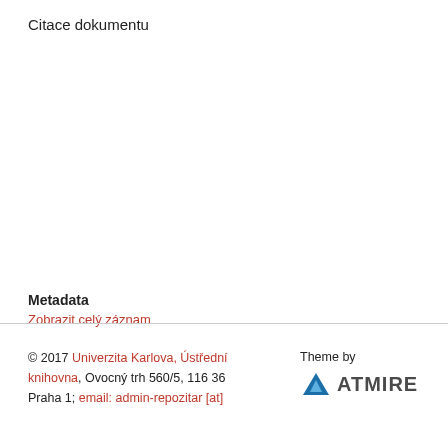Citace dokumentu
Metadata
Zobrazit celý záznam
© 2017 Univerzita Karlova, Ústřední knihovna, Ovocný trh 560/5, 116 36 Praha 1; email: admin-repozitar [at]
Theme by ATMIRE